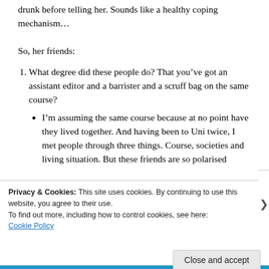drunk before telling her. Sounds like a healthy coping mechanism…
So, her friends:
What degree did these people do? That you've got an assistant editor and a barrister and a scruff bag on the same course?
I'm assuming the same course because at no point have they lived together. And having been to Uni twice, I met people through three things. Course, societies and living situation. But these friends are so polarised
Privacy & Cookies: This site uses cookies. By continuing to use this website, you agree to their use.
To find out more, including how to control cookies, see here: Cookie Policy
Close and accept